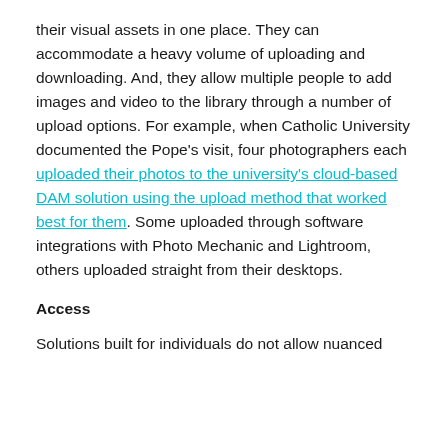their visual assets in one place. They can accommodate a heavy volume of uploading and downloading. And, they allow multiple people to add images and video to the library through a number of upload options. For example, when Catholic University documented the Pope's visit, four photographers each uploaded their photos to the university's cloud-based DAM solution using the upload method that worked best for them. Some uploaded through software integrations with Photo Mechanic and Lightroom, others uploaded straight from their desktops.
Access
Solutions built for individuals do not allow nuanced